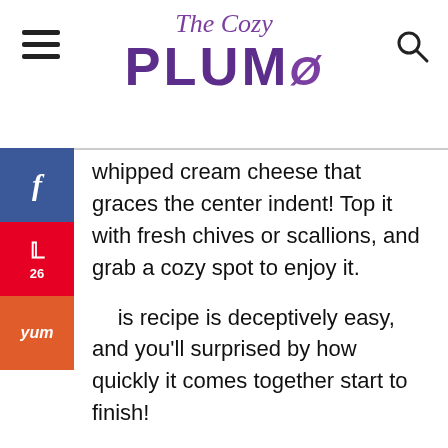The Cozy Plum
whipped cream cheese that graces the center indent! Top it with fresh chives or scallions, and grab a cozy spot to enjoy it.
This recipe is deceptively easy, and you'll be surprised by how quickly it comes together start to finish!